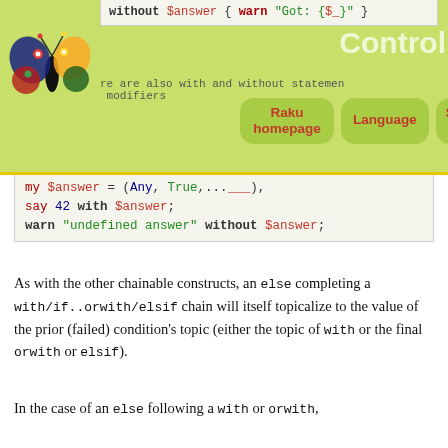Control (navigation bar with Raku homepage, Language, Search Site)
[Figure (screenshot): Raku butterfly logo in top-left corner]
my $answer = (Any, True,....),
say 42 with $answer;
warn "undefined answer" without $answer;
As with the other chainable constructs, an else completing a with/if..orwith/elsif chain will itself topicalize to the value of the prior (failed) condition's topic (either the topic of with or the final orwith or elsif).
In the case of an else following a with or orwith, topicalizing a value guaranteed to be undefined may seem useless. But it makes for a useful idiom when used in conjunction with operations that may fail, because Failure values are always undefined:
sub may_fail( --> Numeric:D ) {
  my $value = (^10).pick || fail "Zero is unacceptable";
  fail "Odd is also not okay" if $value % 2;
  ...